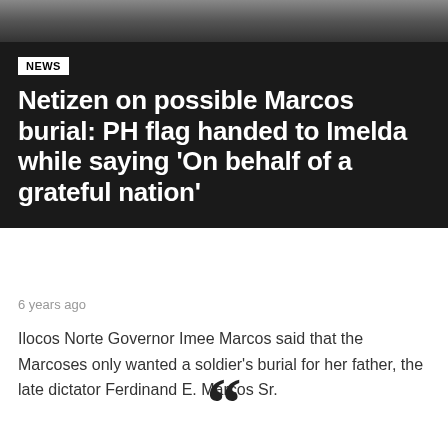[Figure (photo): Blurred dark grey photo at the top of the page]
NEWS
Netizen on possible Marcos burial: PH flag handed to Imelda while saying 'On behalf of a grateful nation'
6 years ago
Ilocos Norte Governor Imee Marcos said that the Marcoses only wanted a soldier's burial for her father, the late dictator Ferdinand E. Marcos Sr.